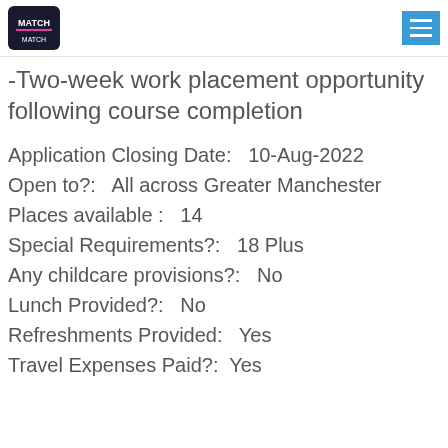MATCH logo and menu button
-Two-week work placement opportunity following course completion
Application Closing Date:   10-Aug-2022
Open to?:   All across Greater Manchester
Places available :   14
Special Requirements?:   18 Plus
Any childcare provisions?:   No
Lunch Provided?:   No
Refreshments Provided:   Yes
Travel Expenses Paid?:   Yes